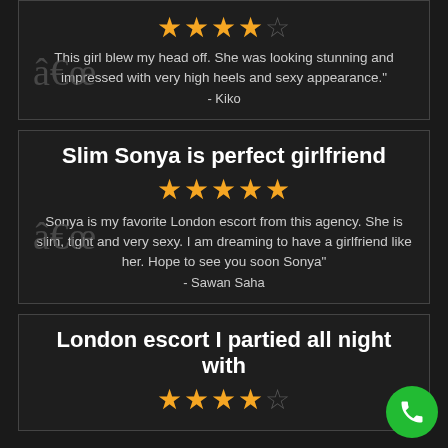[Figure (other): Star rating: 4 out of 5 stars (4 filled, 1 empty)]
â€œ This girl blew my head off. She was looking stunning and impressed with very high heels and sexy appearance." - Kiko
Slim Sonya is perfect girlfriend
[Figure (other): Star rating: 5 out of 5 stars (all filled)]
â€œ Sonya is my favorite London escort from this agency. She is slim, tight and very sexy. I am dreaming to have a girlfriend like her. Hope to see you soon Sonya" - Sawan Saha
London escort I partied all night with
[Figure (other): Star rating: 4 out of 5 stars (4 filled, 1 empty)]